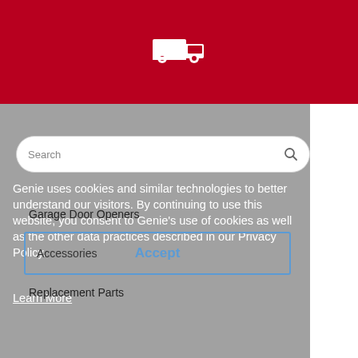[Figure (logo): White delivery truck icon on red background]
Genie uses cookies and similar technologies to better understand our visitors. By continuing to use this website, you consent to Genie’s use of cookies as well as the other data practices described in our Privacy Policy.
Learn More
Search
Garage Door Openers
Accessories
Accept
Replacement Parts